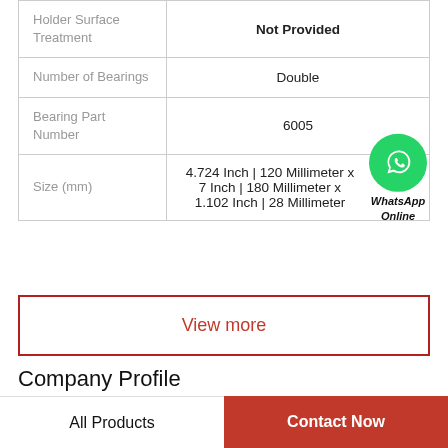| Property | Value |
| --- | --- |
| Holder Surface Treatment | Not Provided |
| Number of Bearings | Double |
| Bearing Part Number | 6005 |
| Size (mm) | 4.724 Inch | 120 Millimeter x 7 Inch | 180 Millimeter x 1.102 Inch | 28 Millimeter |
View more
Company Profile
All Products | Contact Now